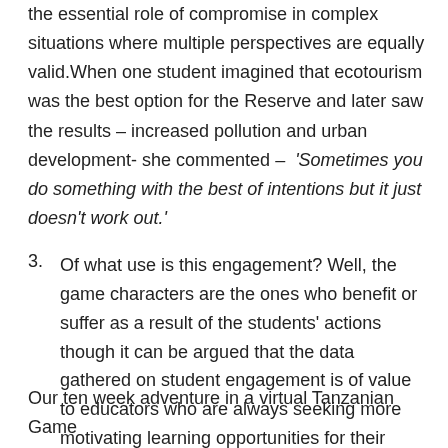the essential role of compromise in complex situations where multiple perspectives are equally valid.When one student imagined that ecotourism was the best option for the Reserve and later saw the results – increased pollution and urban development- she commented – 'Sometimes you do something with the best of intentions but it just doesn't work out.'
3. Of what use is this engagement? Well, the game characters are the ones who benefit or suffer as a result of the students' actions though it can be argued that the data gathered on student engagement is of value to educators who are always seeking more motivating learning opportunities for their students.
Our ten week adventure in a virtual Tanzanian Game